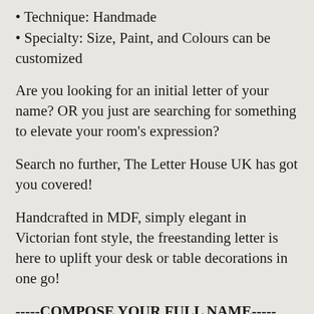• Technique: Handmade
• Specialty: Size, Paint, and Colours can be customized
Are you looking for an initial letter of your name? OR you just are searching for something to elevate your room's expression?
Search no further, The Letter House UK has got you covered!
Handcrafted in MDF, simply elegant in Victorian font style, the freestanding letter is here to uplift your desk or table decorations in one go!
-----COMPOSE YOUR FULL NAME-----
You can either select it as an initial letter of your